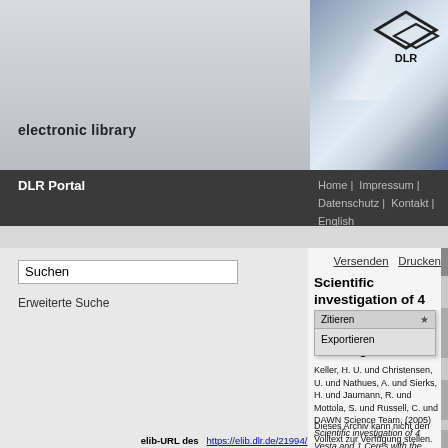[Figure (screenshot): DLR electronic library website header with logo and navigation bar]
electronic library
DLR Portal
Home | Impressum | Datenschutz | Kontakt | English
Suchen
Erweiterte Suche
Versenden   Drucken
Scientific investigation of 4 Vesta and 1 Ceres with the DAWN Framing Cameras
Zitieren   Exportieren
Keller, H. U. und Christensen, U. und Nathues, A. und Sierks, H. und Jaumann, R. und Mottola, S. und Russell, C. und DAWN Science Team, (2005) Scientific investigation of 4 Vesta and 1 Ceres with the DAWN Framing Cameras. Asteroids, Comets Meteors (ACM 2005), 2005-08-07 - 2005-08-12, Buzios, RJ (Brasilien). (nicht veröffentlicht)
Dieses Archiv kann nicht den Volltext zur Verfügung stellen.
elib-URL des Eintrags
https://elib.dlr.de/21994/